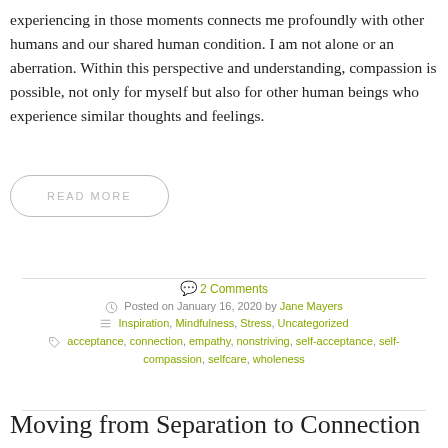experiencing in those moments connects me profoundly with other humans and our shared human condition. I am not alone or an aberration. Within this perspective and understanding, compassion is possible, not only for myself but also for other human beings who experience similar thoughts and feelings.
READ MORE
2 Comments
Posted on January 16, 2020 by Jane Mayers
Inspiration, Mindfulness, Stress, Uncategorized
acceptance, connection, empathy, nonstriving, self-acceptance, self-compassion, selfcare, wholeness
Moving from Separation to Connection